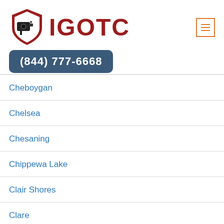[Figure (logo): IGOTC logo with security camera icon inside a red shield, followed by bold dark red text IGOTC]
(844) 777-6668
Cheboygan
Chelsea
Chesaning
Chippewa Lake
Clair Shores
Clare